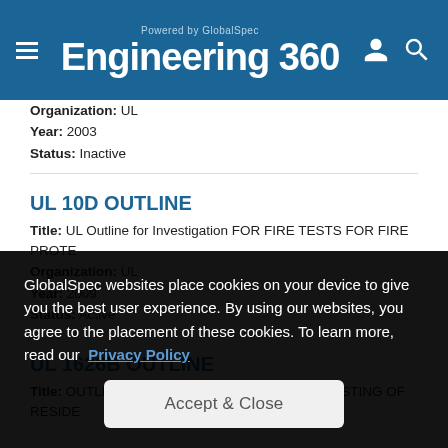Engineering 360 - Powered by GlobalSpec
Organization: UL
Year: 2003
Status: Inactive
UL 10D OUTLINE
Title: UL Outline for Investigation FOR FIRE TESTS FOR FIRE PROTE...
Organization: UL
Year: 2009
Status: Active
UL 1626B OUTLINE
Title: OUTLINE OF INVESTIGATION FOR FIRE TESTING OF RESIDE...
GlobalSpec websites place cookies on your device to give you the best user experience. By using our websites, you agree to the placement of these cookies. To learn more, read our Privacy Policy